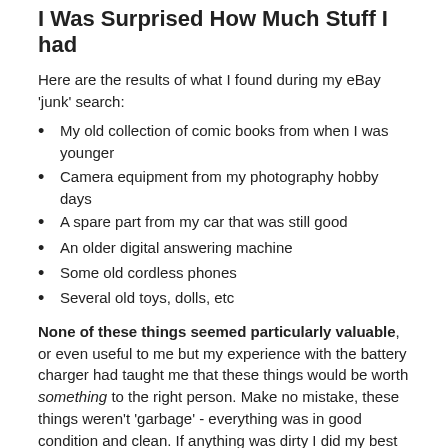I Was Surprised How Much Stuff I had
Here are the results of what I found during my eBay 'junk' search:
My old collection of comic books from when I was younger
Camera equipment from my photography hobby days
A spare part from my car that was still good
An older digital answering machine
Some old cordless phones
Several old toys, dolls, etc
None of these things seemed particularly valuable, or even useful to me but my experience with the battery charger had taught me that these things would be worth something to the right person. Make no mistake, these things weren't 'garbage' - everything was in good condition and clean. If anything was dirty I did my best to clean it...